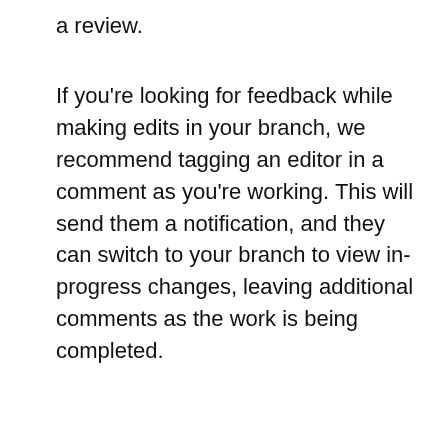a review.
If you're looking for feedback while making edits in your branch, we recommend tagging an editor in a comment as you're working. This will send them a notification, and they can switch to your branch to view in-progress changes, leaving additional comments as the work is being completed.